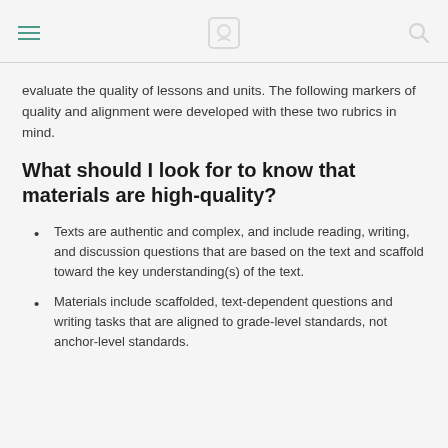evaluate the quality of lessons and units. The following markers of quality and alignment were developed with these two rubrics in mind.
What should I look for to know that materials are high-quality?
Texts are authentic and complex, and include reading, writing, and discussion questions that are based on the text and scaffold toward the key understanding(s) of the text.
Materials include scaffolded, text-dependent questions and writing tasks that are aligned to grade-level standards, not anchor-level standards.